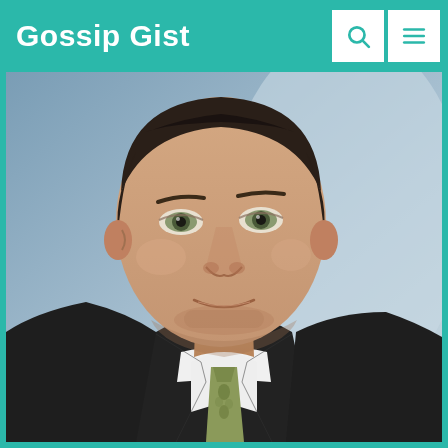Gossip Gist
[Figure (photo): Close-up portrait photo of a man with short dark hair, light eyes, wearing a dark suit with white dress shirt and patterned tie, photographed at what appears to be a formal event with a blue-grey background.]